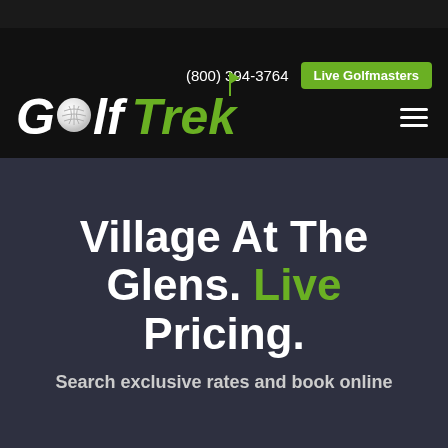(800) 394-3764  Live Golfmasters
[Figure (logo): Golf Trek logo with golf ball replacing the 'O' in 'Golf', green flag above 'Trek', text in white and green italic bold font on black background]
Village At The Glens. Live Pricing.
Search exclusive rates and book online